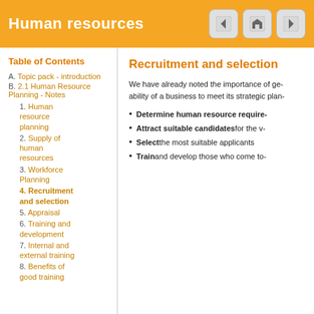Human resources
Table of Contents
A. Topic pack - introduction
B. 2.1 Human Resource Planning - Notes
1. Human resource planning
2. Supply of human resources
3. Workforce Planning
4. Recruitment and selection
5. Appraisal
6. Training and development
7. Internal and external training
8. Benefits of good training
Recruitment and selection
We have already noted the importance of ge- ability of a business to meet its strategic plan-
Determine human resource require-
Attract suitable candidates for the v-
Select the most suitable applicants
Train and develop those who come to-